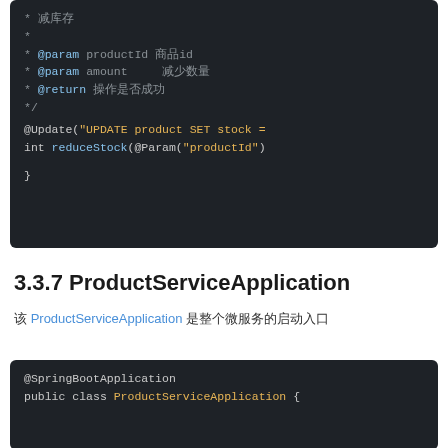[Figure (screenshot): Code block showing Javadoc comment with @param productId, @param amount, @return annotations, and @Update annotation with SQL UPDATE statement and reduceStock method signature]
3.3.7 ProductServiceApplication
该 ProductServiceApplication 是整个微服务的启动入口
[Figure (screenshot): Code block showing @SpringBootApplication annotation and public class ProductServiceApplication {]